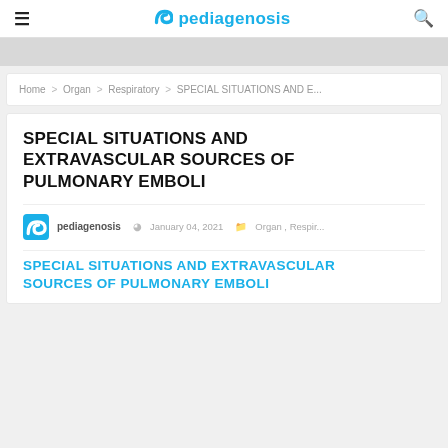≡  pediagenosis  🔍
Home > Organ > Respiratory > SPECIAL SITUATIONS AND E...
SPECIAL SITUATIONS AND EXTRAVASCULAR SOURCES OF PULMONARY EMBOLI
pediagenosis   January 04, 2021   Organ , Respir...
SPECIAL SITUATIONS AND EXTRAVASCULAR SOURCES OF PULMONARY EMBOLI